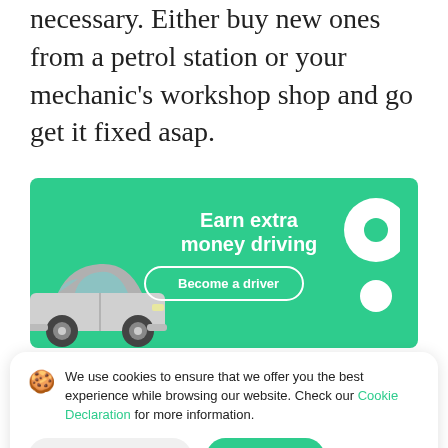necessary. Either buy new ones from a petrol station or your mechanic's workshop shop and go get it fixed asap.
[Figure (illustration): Green advertisement banner for a rideshare service. Shows a white/silver car on the left, text 'Earn extra money driving' in the center with a 'Become a driver' button, and a white location pin icon on the right.]
We use cookies to ensure that we offer you the best experience while browsing our website. Check our Cookie Declaration for more information.